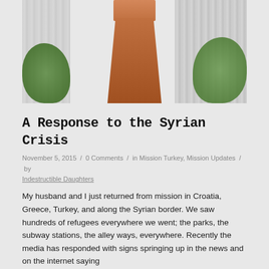[Figure (photo): Photograph of a wooden podium/lectern with a person in a blue shirt behind it, surrounded by green plants and flowers, with a corrugated metal background]
A Response to the Syrian Crisis
November 5, 2015 / 0 Comments / in Mission Turkey, Mission Updates / by Indestructible Daughters
My husband and I just returned from mission in Croatia, Greece, Turkey, and along the Syrian border. We saw hundreds of refugees everywhere we went; the parks, the subway stations, the alley ways, everywhere. Recently the media has responded with signs springing up in the news and on the internet saying